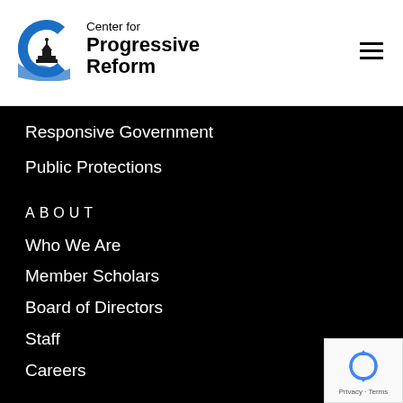Center for Progressive Reform
Responsive Government
Public Protections
ABOUT
Who We Are
Member Scholars
Board of Directors
Staff
Careers
RESOURCES
[Figure (logo): reCAPTCHA badge with blue circular arrows icon and Privacy - Terms text]